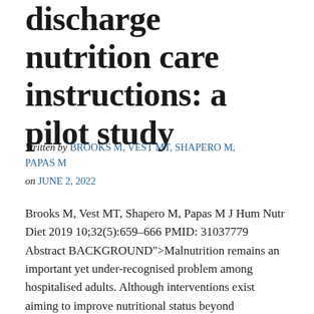discharge nutrition care instructions: a pilot study
Written by BROOKS M, VEST MT, SHAPERO M, PAPAS M on JUNE 2, 2022
Brooks M, Vest MT, Shapero M, Papas M J Hum Nutr Diet 2019 10;32(5):659-666 PMID: 31037779 Abstract BACKGROUND">Malnutrition remains an important yet under-recognised problem among hospitalised adults. Although interventions exist aiming to improve nutritional status beyond hospitalisation, few studies examine how often and what type of nutrition care instructions are given at discharge. The present